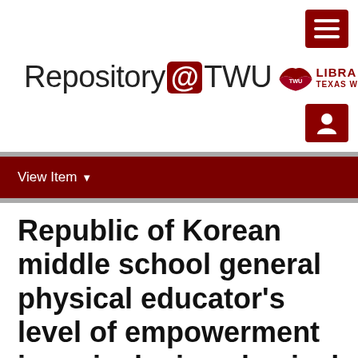[Figure (logo): Repository@TWU logo with dark red hamburger menu icon in top right, TWU Libraries logo with wing icon in upper right]
View Item
Republic of Korean middle school general physical educator's level of empowerment in an inclusive physical education environment